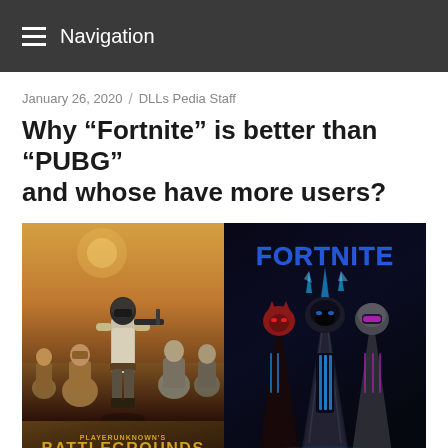Navigation
January 26, 2020 / DLLs Pedia Staff
Why “Fortnite” is better than “PUBG” and whose have more users?
[Figure (photo): Side-by-side image showing PUBG (PlayerUnknown's Battlegrounds) on the left with game characters and golden logo text, and Fortnite on the right with armored characters and blue FORTNITE title text.]